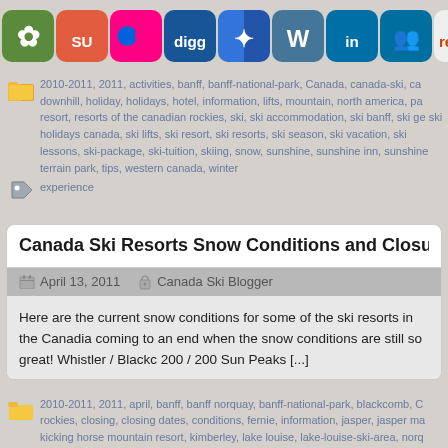[Figure (screenshot): Social media sharing icons bar including StumbleUpon, Flickr, Digg, Delicious, Wordpress, LinkedIn, MySpace, Reddit, iChat, Facebook, Twitter, RSS feed]
2010-2011, 2011, activities, banff, banff-national-park, Canada, canada-ski, ca downhill, holiday, holidays, hotel, information, lifts, mountain, north america, pa resort, resorts of the canadian rockies, ski, ski accommodation, ski banff, ski ge ski holidays canada, ski lifts, ski resort, ski resorts, ski season, ski vacation, ski lessons, ski-package, ski-tuition, skiing, snow, sunshine, sunshine inn, sunshine terrain park, tips, western canada, winter
experience
Canada Ski Resorts Snow Conditions and Closures -
April 13, 2011   Canada Ski Blogger
Here are the current snow conditions for some of the ski resorts in the Canadia coming to an end when the snow conditions are still so great! Whistler / Blackc 200 / 200 Sun Peaks [...]
2010-2011, 2011, april, banff, banff norquay, banff-national-park, blackcomb, C rockies, closing, closing dates, conditions, fernie, information, jasper, jasper ma kicking horse mountain resort, kimberley, lake louise, lake-louise-ski-area, norq panorama, powder, red-mountain, reports, resorts of the canadian rockies, ski, canada, ski resort, ski resorts, ski season, ski-holiday, skiing, snow, snowboard sunpeaks, sunshine, sunshine village, update, western canada, whistler, whistl big white, revelstoke, silver star, tremblant
Sunshine Village, Banff Ski Video – March 2011